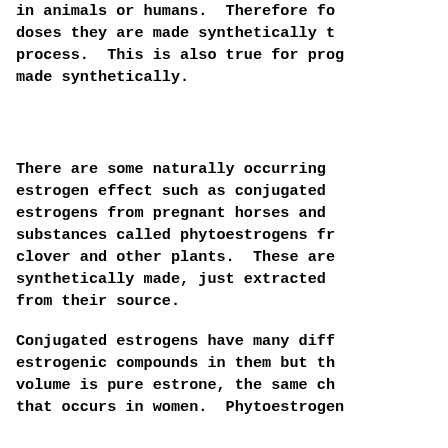in animals or humans. Therefore for doses they are made synthetically t process. This is also true for prog made synthetically.
There are some naturally occurring estrogen effect such as conjugated estrogens from pregnant horses and substances called phytoestrogens fr clover and other plants. These are synthetically made, just extracted from their source.
Conjugated estrogens have many dif estrogenic compounds in them but t volume is pure estrone, the same c that occurs in women. Phytoestrogen